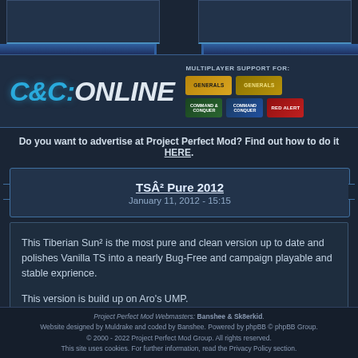[Figure (logo): C&C:Online logo with multiplayer support badges for Generals, Zero Hour, C&C, Command & Conquer Generals, and Red Alert]
Do you want to advertise at Project Perfect Mod? Find out how to do it HERE.
TSÂ² Pure 2012
January 11, 2012 - 15:15
This Tiberian Sun² is the most pure and clean version up to date and polishes Vanilla TS into a nearly Bug-Free and campaign playable and stable exprience.

This version is build up on Aro's UMP.

All you need is Tiberian Sun 2.03
Compatible with Firestorm.
Project Perfect Mod Webmasters: Banshee & Sk8erkid. Website designed by Muldrake and coded by Banshee. Powered by phpBB © phpBB Group. © 2000 - 2022 Project Perfect Mod Group. All rights reserved. This site uses cookies. For further information, read the Privacy Policy section.